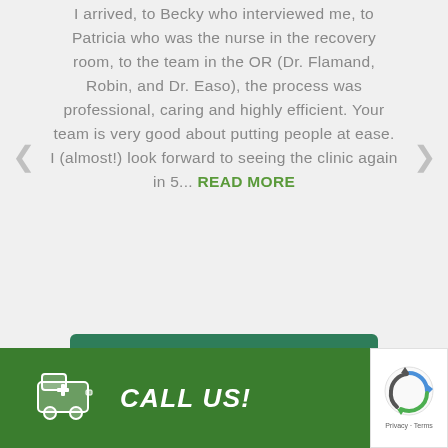I arrived, to Becky who interviewed me, to Patricia who was the nurse in the recovery room, to the team in the OR (Dr. Flamand, Robin, and Dr. Easo), the process was professional, caring and highly efficient. Your team is very good about putting people at ease. I (almost!) look forward to seeing the clinic again in 5... READ MORE
READ ALL TESTIMONIALS
CALL US!